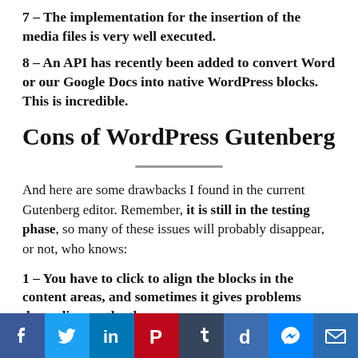7 – The implementation for the insertion of the media files is very well executed.
8 – An API has recently been added to convert Word or our Google Docs into native WordPress blocks. This is incredible.
Cons of WordPress Gutenberg
And here are some drawbacks I found in the current Gutenberg editor. Remember, it is still in the testing phase, so many of these issues will probably disappear, or not, who knows:
1 – You have to click to align the blocks in the content areas, and sometimes it gives problems depending on the theme you use.